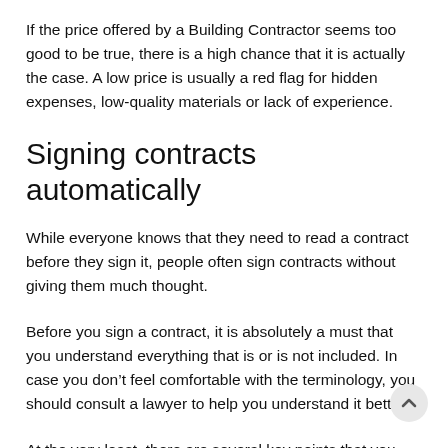If the price offered by a Building Contractor seems too good to be true, there is a high chance that it is actually the case. A low price is usually a red flag for hidden expenses, low-quality materials or lack of experience.
Signing contracts automatically
While everyone knows that they need to read a contract before they sign it, people often sign contracts without giving them much thought.
Before you sign a contract, it is absolutely a must that you understand everything that is or is not included. In case you don’t feel comfortable with the terminology, you should consult a lawyer to help you understand it better.
At the very least, there are several key points that you should have in writing before the start of the project: